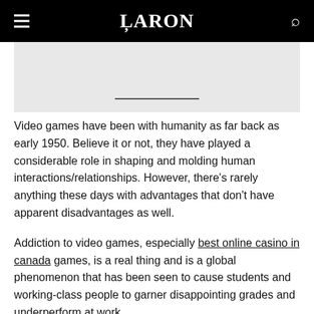BARON
[Figure (photo): Partial image area with an underline element visible, gray background]
Video games have been with humanity as far back as early 1950. Believe it or not, they have played a considerable role in shaping and molding human interactions/relationships. However, there's rarely anything these days with advantages that don't have apparent disadvantages as well.
Addiction to video games, especially best online casino in canada games, is a real thing and is a global phenomenon that has been seen to cause students and working-class people to garner disappointing grades and underperform at work.